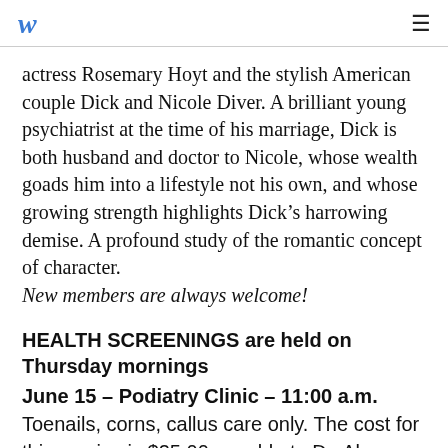w ≡
actress Rosemary Hoyt and the stylish American couple Dick and Nicole Diver. A brilliant young psychiatrist at the time of his marriage, Dick is both husband and doctor to Nicole, whose wealth goads him into a lifestyle not his own, and whose growing strength highlights Dick's harrowing demise. A profound study of the romantic concept of character. New members are always welcome!
HEALTH SCREENINGS are held on Thursday mornings
June 15 – Podiatry Clinic – 11:00 a.m. Toenails, corns, callus care only. The cost for this service is $25.00 payable to Dr. Alper. Insurance is not